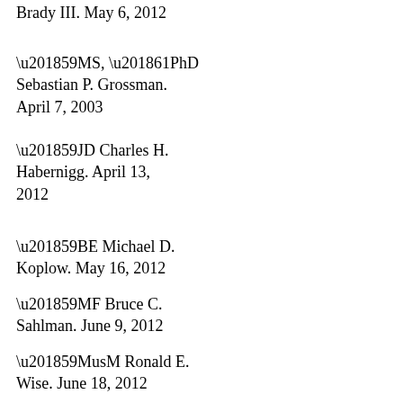Brady III. May 6, 2012
'59MS, '61PhD Sebastian P. Grossman. April 7, 2003
'59JD Charles H. Habernigg. April 13, 2012
'59BE Michael D. Koplow. May 16, 2012
'59MF Bruce C. Sahlman. June 9, 2012
'59MusM Ronald E. Wise. June 18, 2012
'60 Anthony B. Catlin. June 9, 2012
'60STM Dale G. Lasky. May 13, 2012
'60MF Robert C.